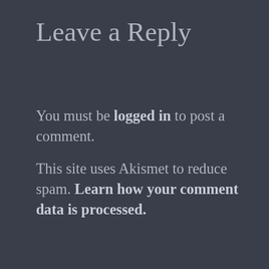Leave a Reply
You must be logged in to post a comment.
This site uses Akismet to reduce spam. Learn how your comment data is processed.
Advertisements
[Figure (logo): P2 logo advertisement banner — black square icon with grid pattern and 'P2' text in bold]
Advertisements
[Figure (photo): MAC cosmetics advertisement showing colorful lipsticks (purple, pink, coral, red) with MAC logo and SHOP NOW button]